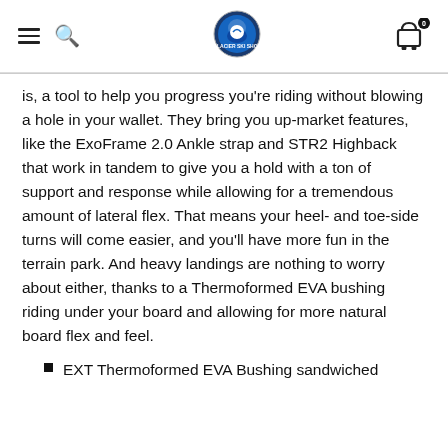Navigation header with hamburger menu, search icon, Glacier Ski Shop logo, and cart with 0 items
is, a tool to help you progress you're riding without blowing a hole in your wallet. They bring you up-market features, like the ExoFrame 2.0 Ankle strap and STR2 Highback that work in tandem to give you a hold with a ton of support and response while allowing for a tremendous amount of lateral flex. That means your heel- and toe-side turns will come easier, and you'll have more fun in the terrain park. And heavy landings are nothing to worry about either, thanks to a Thermoformed EVA bushing riding under your board and allowing for more natural board flex and feel.
EXT Thermoformed EVA Bushing sandwiched